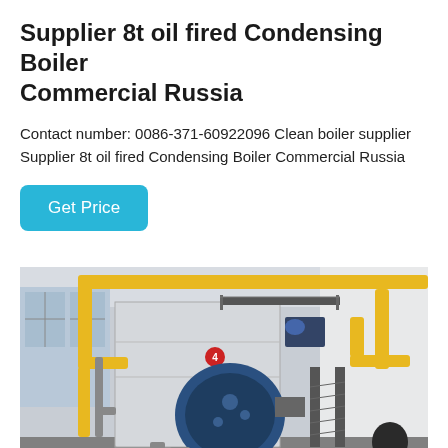Supplier 8t oil fired Condensing Boiler Commercial Russia
Contact number: 0086-371-60922096 Clean boiler supplier Supplier 8t oil fired Condensing Boiler Commercial Russia
[Figure (photo): Industrial boiler room with large blue cylindrical burner attached to a white rectangular boiler unit, yellow gas pipes running along ceiling and walls, metal staircase on the right, worker visible in lower right corner.]